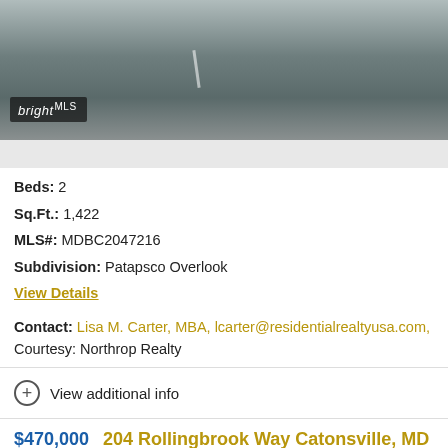[Figure (photo): Exterior photo showing a paved road/parking area with a 'bright MLS' watermark logo in the lower left corner]
Beds: 2
Sq.Ft.: 1,422
MLS#: MDBC2047216
Subdivision: Patapsco Overlook
View Details
Contact: Lisa M. Carter, MBA, lcarter@residentialrealtyusa.com,
Courtesy: Northrop Realty
View additional info
$470,000  204 Rollingbrook Way Catonsville, MD 21228